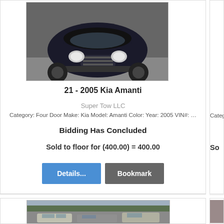[Figure (photo): Front view of a dark/black 2005 Kia Amanti vehicle in a parking lot]
21 - 2005 Kia Amanti
Super Tow LLC
Category: Four Door Make: Kia Model: Amanti Color: Year: 2005 VIN#: …
Bidding Has Concluded
Sold to floor for (400.00) = 400.00
[Figure (photo): Partial view of vehicles in a lot — second listing card, partially visible on the right]
[Figure (photo): Outdoor auction lot with multiple cars, bottom card image, partially cropped at page bottom]